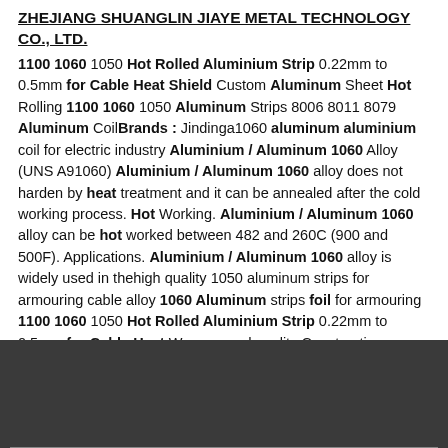ZHEJIANG SHUANGLIN JIAYE METAL TECHNOLOGY CO., LTD.
1100 1060 1050 Hot Rolled Aluminium Strip 0.22mm to 0.5mm for Cable Heat Shield Custom Aluminum Sheet Hot Rolling 1100 1060 1050 Aluminum Strips 8006 8011 8079 Aluminum CoilBrands : Jindinga1060 aluminum aluminium coil for electric industry Aluminium / Aluminum 1060 Alloy (UNS A91060) Aluminium / Aluminum 1060 alloy does not harden by heat treatment and it can be annealed after the cold working process. Hot Working. Aluminium / Aluminum 1060 alloy can be hot worked between 482 and 260C (900 and 500F). Applications. Aluminium / Aluminum 1060 alloy is widely used in thehigh quality 1050 aluminum strips for armouring cable alloy 1060 Aluminum strips foil for armouring 1100 1060 1050 Hot Rolled Aluminium Strip 0.22mm to 0.5mm for Cable Heat We are good quality Construction Material Hot Rolling Alloy 5083 Aluminum